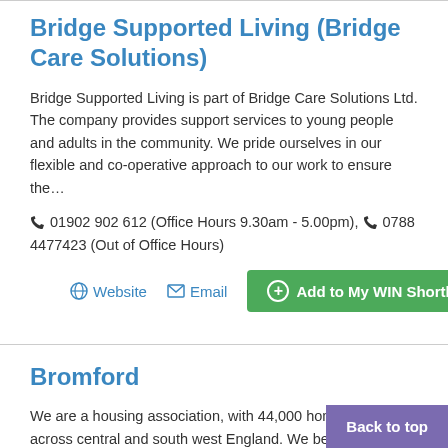Bridge Supported Living (Bridge Care Solutions)
Bridge Supported Living is part of Bridge Care Solutions Ltd. The company provides support services to young people and adults in the community. We pride ourselves in our flexible and co-operative approach to our work to ensure the…
☎ 01902 902 612 (Office Hours 9.30am - 5.00pm), ☎ 0788 4477423 (Out of Office Hours)
Website | Email | Add to My WIN Shortlist
Bromford
We are a housing association, with 44,000 homes spread across central and south west England. We believe in providing warm, safe and secure homes. But ultimately, we're a peop… Not only do we care about the 100,000 people who…
Back to top